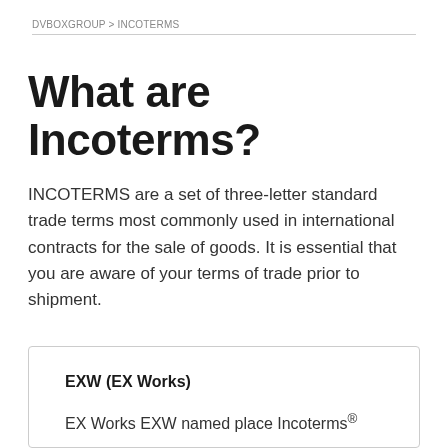DVBOXGROUP > INCOTERMS
What are Incoterms?
INCOTERMS are a set of three-letter standard trade terms most commonly used in international contracts for the sale of goods. It is essential that you are aware of your terms of trade prior to shipment.
EXW (EX Works)
EX Works EXW named place Incoterms®